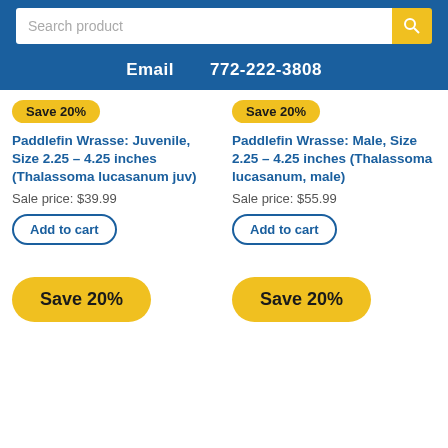Search product | Email  772-222-3808
Paddlefin Wrasse: Juvenile, Size 2.25 – 4.25 inches (Thalassoma lucasanum juv)
Sale price: $39.99
Paddlefin Wrasse: Male, Size 2.25 – 4.25 inches (Thalassoma lucasanum, male)
Sale price: $55.99
Add to cart
Add to cart
Save 20%
Save 20%